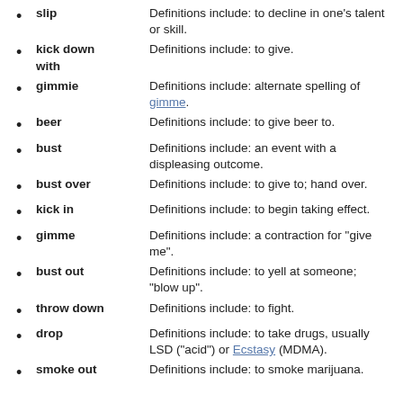slip — Definitions include: to decline in one's talent or skill.
kick down with — Definitions include: to give.
gimmie — Definitions include: alternate spelling of gimme.
beer — Definitions include: to give beer to.
bust — Definitions include: an event with a displeasing outcome.
bust over — Definitions include: to give to; hand over.
kick in — Definitions include: to begin taking effect.
gimme — Definitions include: a contraction for "give me".
bust out — Definitions include: to yell at someone; "blow up".
throw down — Definitions include: to fight.
drop — Definitions include: to take drugs, usually LSD ("acid") or Ecstasy (MDMA).
smoke out — Definitions include: to smoke marijuana.